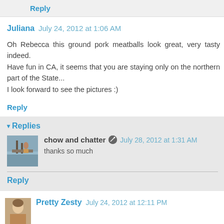Reply
Juliana July 24, 2012 at 1:06 AM
Oh Rebecca this ground pork meatballs look great, very tasty indeed.
Have fun in CA, it seems that you are staying only on the northern part of the State...
I look forward to see the pictures :)
Reply
Replies
chow and chatter July 28, 2012 at 1:31 AM
thanks so much
Reply
Pretty Zesty July 24, 2012 at 12:11 PM